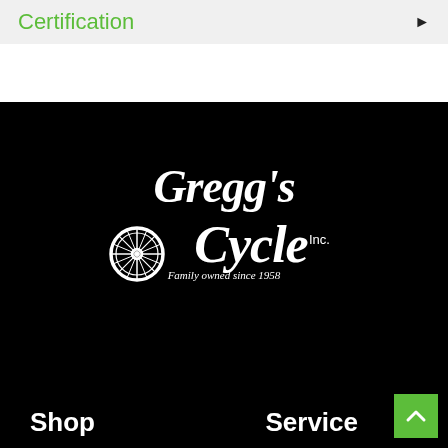Certification
[Figure (logo): Gregg's Cycle Inc. logo — white text with a bicycle wheel graphic on black background, tagline: Family owned since 1958]
Shop
Service